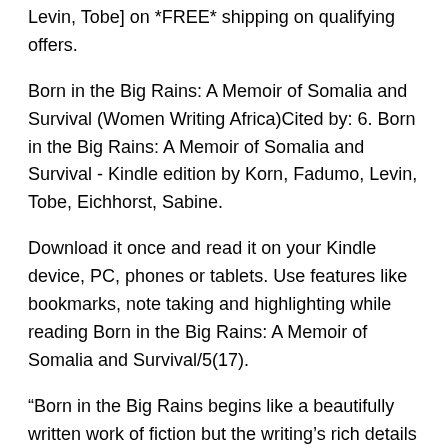Levin, Tobe] on *FREE* shipping on qualifying offers.
Born in the Big Rains: A Memoir of Somalia and Survival (Women Writing Africa)Cited by: 6. Born in the Big Rains: A Memoir of Somalia and Survival - Kindle edition by Korn, Fadumo, Levin, Tobe, Eichhorst, Sabine.
Download it once and read it on your Kindle device, PC, phones or tablets. Use features like bookmarks, note taking and highlighting while reading Born in the Big Rains: A Memoir of Somalia and Survival/5(17).
“Born in the Big Rains begins like a beautifully written work of fiction but the writing’s rich details and driving action belie that this is no tall tale [Korn’s] testament on FGM [is] brave and full of strength.” — Feminist Review. I was born in the Big Rains, It was a good year: The dry steppes in Ogaden in Somalia, not far from the Ethiopian border, had been green longer than usual, providing nourishment for animals and people alike.
Everyone who Brand: Feminist Press at CUNY, The. Born in the Big